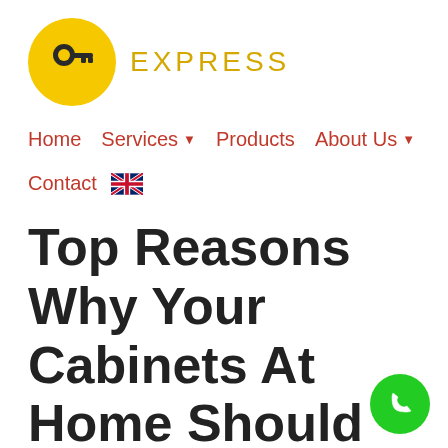[Figure (logo): Yellow circle with a white key icon and the text EXPRESS in yellow to the right]
Home   Services ▼   Products   About Us ▼   Contact 🇬🇧
Top Reasons Why Your Cabinets At Home Should Feature Security Locks
[Figure (illustration): Green circle phone/call button in the bottom right corner]